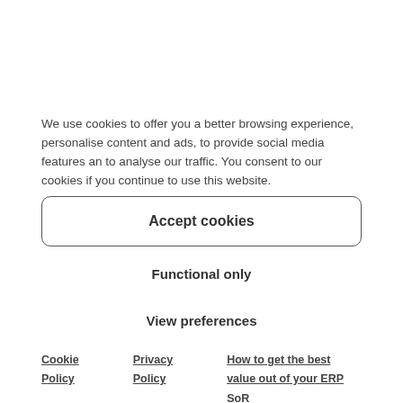We use cookies to offer you a better browsing experience, personalise content and ads, to provide social media features an to analyse our traffic. You consent to our cookies if you continue to use this website.
Accept cookies
Functional only
View preferences
Cookie Policy
Privacy Policy
How to get the best value out of your ERP SoR and RFP/RFI process.